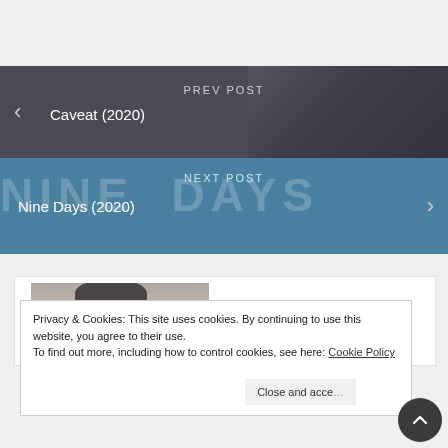PREV POST
Caveat (2020)
NEXT POST
Nine Days (2020)
[Figure (photo): Partial view of a person's face/head, blurred background]
Privacy & Cookies: This site uses cookies. By continuing to use this website, you agree to their use.
To find out more, including how to control cookies, see here: Cookie Policy
Close and accept